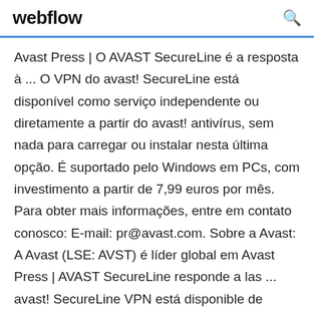webflow
Avast Press | O AVAST SecureLine é a resposta à ... O VPN do avast! SecureLine está disponível como serviço independente ou diretamente a partir do avast! antivírus, sem nada para carregar ou instalar nesta última opção. É suportado pelo Windows em PCs, com investimento a partir de 7,99 euros por mês. Para obter mais informações, entre em contato conosco: E-mail: pr@avast.com. Sobre a Avast: A Avast (LSE: AVST) é líder global em Avast Press | AVAST SecureLine responde a las ... avast! SecureLine VPN está disponible de forma independiente o como parte del software antivirus de avast!. Esta última opción no